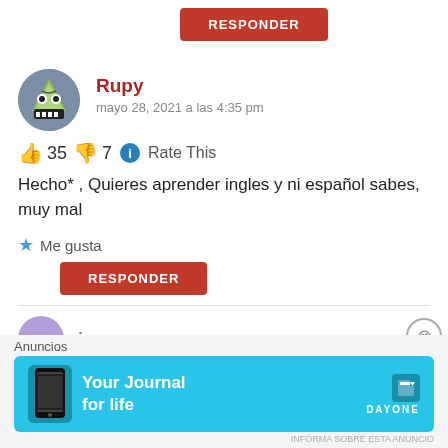RESPONDER (top button)
Rupy
mayo 28, 2021 a las 4:35 pm
👍 35 👎 7 ℹ Rate This
Hecho* , Quieres aprender ingles y ni español sabes, muy mal
★ Me gusta
RESPONDER
juan
Anuncios
[Figure (screenshot): DayOne app advertisement banner with cyan background, phone image, text 'Your Journal for life', and DayOne logo]